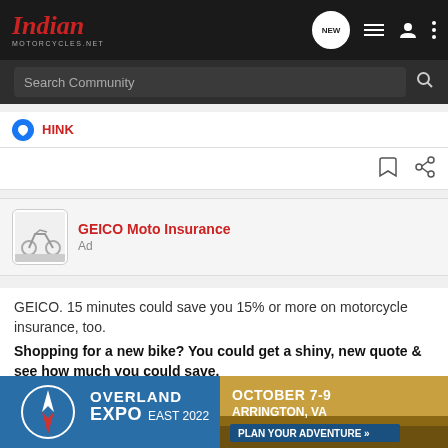Indian MOTORCYCLES.NET — NEW
Search Community
HINK
GEICO Moto Insurance
Ad
GEICO. 15 minutes could save you 15% or more on motorcycle insurance, too.
Shopping for a new bike? You could get a shiny, new quote & see how much you could save.
[Figure (infographic): Overland Expo East 2022 banner advertisement. Blue and tan background with motorcycle imagery. Text: OVERLAND EXPO EAST 2022 / OCTOBER 7-9 / ARRINGTON, VA / PLAN YOUR ADVENTURE »]